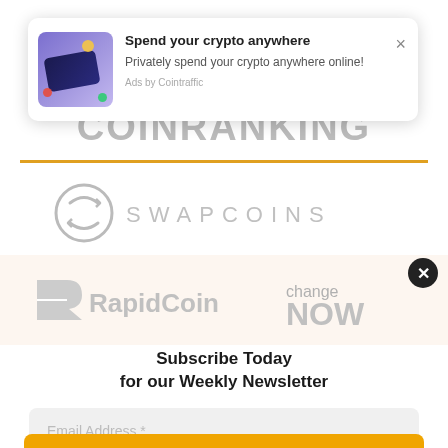[Figure (infographic): Advertisement popup: crypto card image on purple background with colored dots, title 'Spend your crypto anywhere', description 'Privately spend your crypto anywhere online!', attribution 'Ads by Cointraffic', close X button]
COINRANKING
[Figure (logo): SwapCoins logo: circular arrow icon in grey with text SWAPCOINS in spaced grey caps]
[Figure (logo): RapidCoin logo: stylized R icon and RapidCoin text in grey, plus changeNOW logo in grey text on right]
[Figure (other): Circular close button (black circle with white X) in upper right of pink/salmon background section]
Subscribe Today
for our Weekly Newsletter
Email Address *